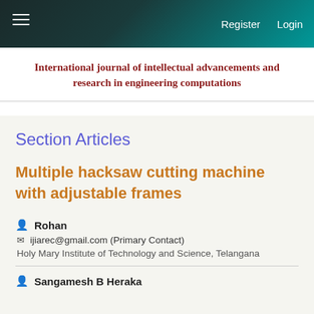Register   Login
International journal of intellectual advancements and research in engineering computations
Section Articles
Multiple hacksaw cutting machine with adjustable frames
Rohan
ijiarec@gmail.com (Primary Contact)
Holy Mary Institute of Technology and Science, Telangana
Sangamesh B Heraka